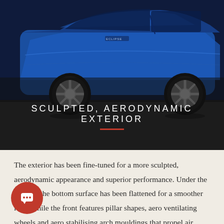[Figure (photo): Blue SUV/crossover vehicle side view photographed from a low angle on dark asphalt surface, with dark overlay and title text superimposed.]
SCULPTED, AERODYNAMIC EXTERIOR
The exterior has been fine-tuned for a more sculpted, aerodynamic appearance and superior performance. Under the vehicle, the bottom surface has been flattened for a smoother look, while the front features pillar shapes, aero ventilating wheels and aero stabilising arch mouldings that propel air smoothly to the rear. Completing the sculpted appearance is a vertical fin, aero stabilising blade light and rear spoiler,